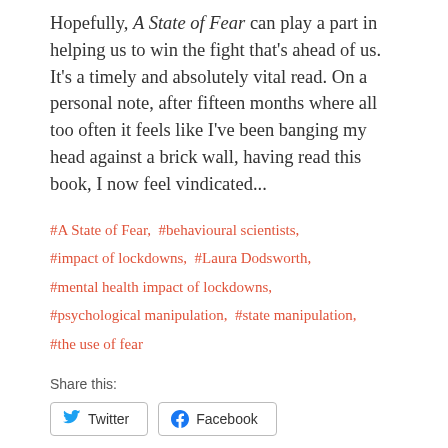Hopefully, A State of Fear can play a part in helping us to win the fight that's ahead of us. It's a timely and absolutely vital read. On a personal note, after fifteen months where all too often it feels like I've been banging my head against a brick wall, having read this book, I now feel vindicated...
#A State of Fear, #behavioural scientists, #impact of lockdowns, #Laura Dodsworth, #mental health impact of lockdowns, #psychological manipulation, #state manipulation, #the use of fear
Share this: